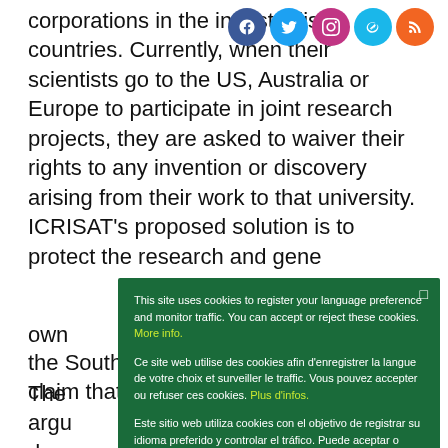corporations in the industrialised countries. Currently, when their scientists go to the US, Australia or Europe to participate in joint research projects, they are asked to waiver their rights to any invention or discovery arising from their work to that university. ICRISAT's proposed solution is to protect the research and gene[tic resources] own[ership]
The [CGIAR centers] argu[e that] deve[loping world] impo[rtance] to p[rotect] agri[cultural] not h[ave] out o[f] the South will be impeded. The IARCs claim that IPRs
[Figure (screenshot): Cookie consent overlay in green with three language blocks (English, French, Spanish) and an Ok button. Close button (x) top right.]